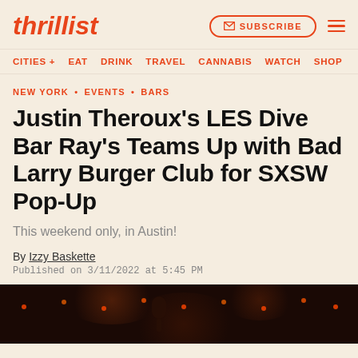thrillist | SUBSCRIBE | menu
CITIES + EAT DRINK TRAVEL CANNABIS WATCH SHOP
NEW YORK • EVENTS • BARS
Justin Theroux's LES Dive Bar Ray's Teams Up with Bad Larry Burger Club for SXSW Pop-Up
This weekend only, in Austin!
By Izzy Baskette
Published on 3/11/2022 at 5:45 PM
[Figure (photo): Dim bar interior with warm amber and red string lights, dark wood paneling visible in background]